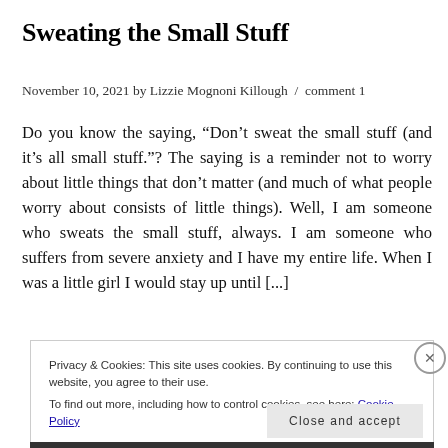Sweating the Small Stuff
November 10, 2021 by Lizzie Mognoni Killough / comment 1
Do you know the saying, “Don’t sweat the small stuff (and it’s all small stuff.”? The saying is a reminder not to worry about little things that don’t matter (and much of what people worry about consists of little things). Well, I am someone who sweats the small stuff, always. I am someone who suffers from severe anxiety and I have my entire life. When I was a little girl I would stay up until [...]
Privacy & Cookies: This site uses cookies. By continuing to use this website, you agree to their use.
To find out more, including how to control cookies, see here: Cookie Policy